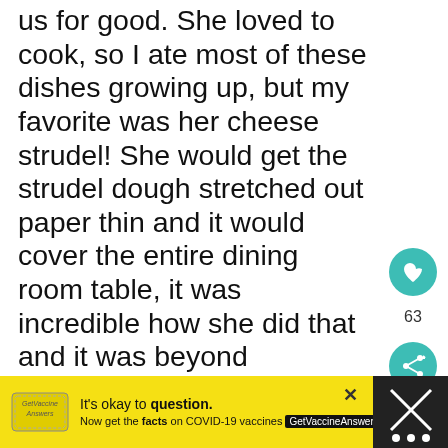us for good. She loved to cook, so I ate most of these dishes growing up, but my favorite was her cheese strudel! She would get the strudel dough stretched out paper thin and it would cover the entire dining room table, it was incredible how she did that and it was beyond delicious! Growing up, while my friends snacked on chips and cookies, I snacked on Jumari and Strudel...and I wouldn't have it any other way!
[Figure (infographic): Yellow advertisement banner: 'It's okay to question. Now get the facts on COVID-19 vaccines. GetVaccineAnswers.org']